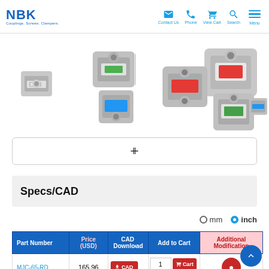NBK - Couplings. Screws. Clampers. | Contact Us | Phone | View Cart | Search | Menu
[Figure (photo): Multiple NBK flexible jaw/spider couplings (MJC series) in various sizes with colored elastomer spiders: blue, red, green. Aluminum alloy hubs shown at different angles.]
+
Specs/CAD
○mm ●inch
| Part Number | Price (USD) | CAD Download | Add to Cart | Additional Modification |
| --- | --- | --- | --- | --- |
| MJC-65-RD | 165.96 | [CAD] | 1 [Cart] | [●] |